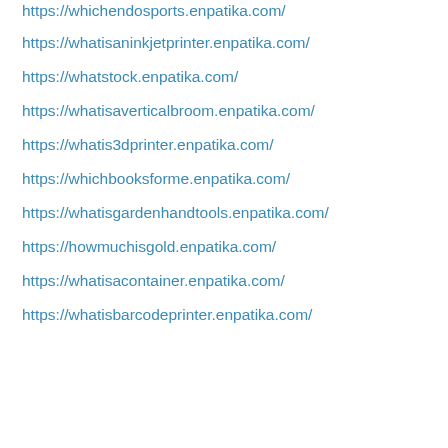https://whichendosports.enpatika.com/
https://whatisaninkjetprinter.enpatika.com/
https://whatstock.enpatika.com/
https://whatisaverticalbroom.enpatika.com/
https://whatis3dprinter.enpatika.com/
https://whichbooksforme.enpatika.com/
https://whatisgardenhandtools.enpatika.com/
https://howmuchisgold.enpatika.com/
https://whatisacontainer.enpatika.com/
https://whatisbarcodeprinter.enpatika.com/